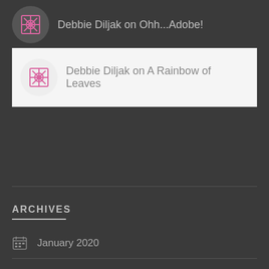Debbie Diljak on Ohh...Adobe!
Debbie Diljak on A Rainbow of Leaves
ARCHIVES
January 2020
November 2019
October 2019
September 2018